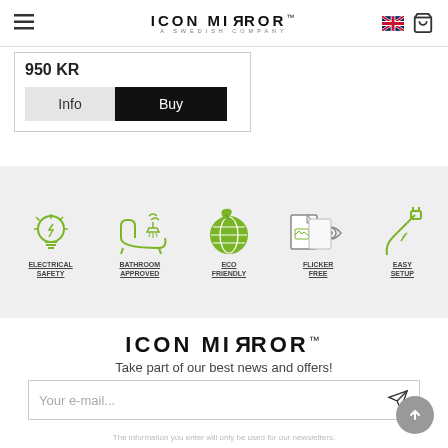ICON MIRROR — A Swedish Company
950 KR
Info | Buy
[Figure (infographic): Five feature icons on grey background: Electrical Safety (light bulb), Bathroom Approved (bathtub with shower), Eco Friendly (green globe with leaf), Flicker Free (eye icon), Easy Setup (plug icon). All icons in green outline style with underlined labels.]
ICON MIRROR
Take part of our best news and offers!
Your e-mail...
The information you enter will only be used for our newsletters.